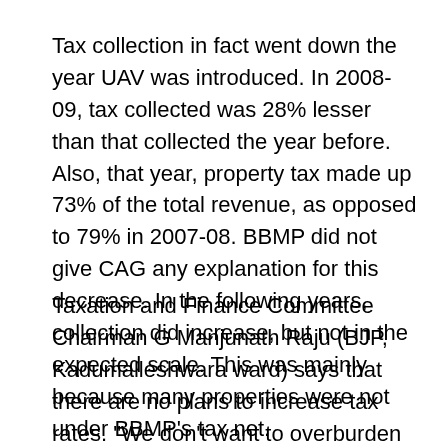Tax collection in fact went down the year UAV was introduced. In 2008-09, tax collected was 28% lesser than that collected the year before. Also, that year, property tax made up 73% of the total revenue, as opposed to 79% in 2007-08. BBMP did not give CAG any explanation for this decrease. In the following years, collection did increase, but not in the expected scale. This was mainly because many properties were not under BBMP's tax net.
Taxation and Finance Committee Chairman G Manjunath Raju (BJP, Kadumalleshwara ward) says that there are no plans to increase tax rates. "We don't want to overburden citizens, so there will be no hike," he says. In line with this thinking, the 2012-13 announcement by BBMP for property tax collections does not include a hike.